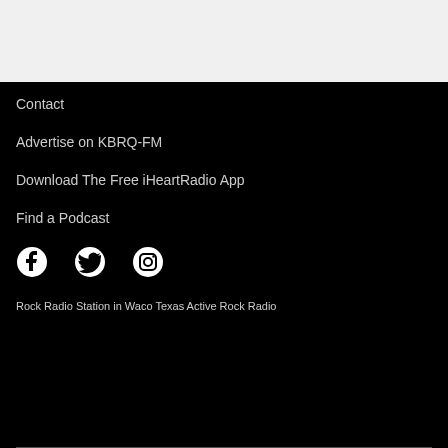[Figure (other): Light gray top section banner area]
Contact
Advertise on KBRQ-FM
Download The Free iHeartRadio App
Find a Podcast
[Figure (infographic): Social media icons: Facebook, Twitter, Instagram]
Rock Radio Station in Waco Texas Active Rock Radio